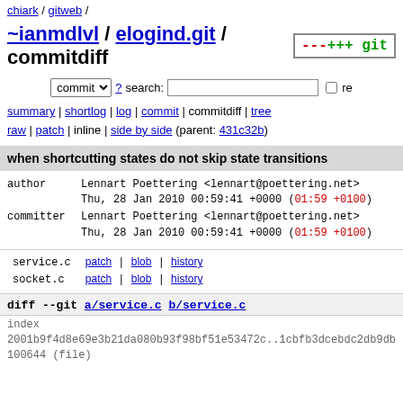chiark / gitweb /
~ianmdlvl / elogind.git / commitdiff
commit ? search: re
summary | shortlog | log | commit | commitdiff | tree
raw | patch | inline | side by side (parent: 431c32b)
when shortcutting states do not skip state transitions
author    Lennart Poettering <lennart@poettering.net>
          Thu, 28 Jan 2010 00:59:41 +0000 (01:59 +0100)
committer Lennart Poettering <lennart@poettering.net>
          Thu, 28 Jan 2010 00:59:41 +0000 (01:59 +0100)
| file | links |
| --- | --- |
| service.c | patch | blob | history |
| socket.c | patch | blob | history |
diff --git a/service.c b/service.c
index
2001b9f4d8e69e3b21da080b93f98bf51e53472c..1cbfb3dcebdc2db9db
100644 (file)